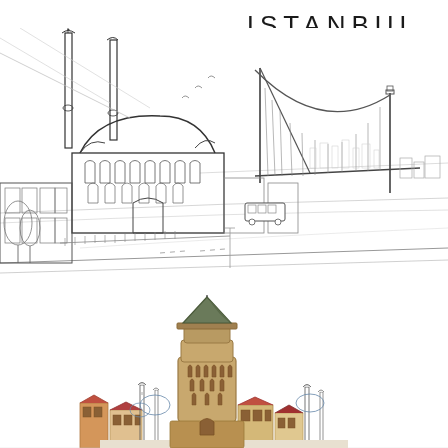ISTANBUL
Turkey
[Figure (illustration): Line art sketch of Ortaköy Mosque with two minarets and the Bosphorus Bridge in the background, Istanbul skyline waterfront scene in black and white ink style]
[Figure (illustration): Colored illustration of Galata Tower with surrounding buildings, rooftops, and mosque minarets in the foreground, semi-realistic style with earth tones]